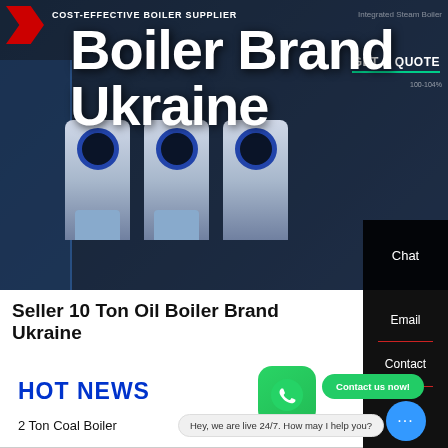[Figure (screenshot): Hero banner with dark blue industrial background showing boiler equipment units, with large white bold text 'Boiler Brand Ukraine' overlaid. Top left shows company logo and tagline 'COST-EFFECTIVE BOILER SUPPLIER'. Top right shows 'GET A QUOTE' button with green underline. Right sidebar panel shows 'Chat' label on dark background.]
Seller 10 Ton Oil Boiler Brand Ukraine
HOT NEWS
[Figure (screenshot): WhatsApp green icon button and green 'Contact us now!' pill button]
2 Ton Coal Boiler
Hey, we are live 24/7. How may I help you?